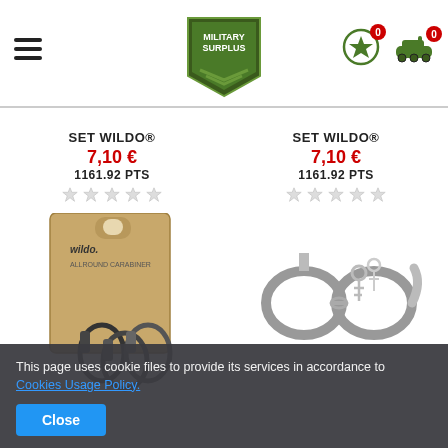Military Surplus - header with logo, hamburger menu, star icon and tank icon with badges 0
SET WILDO®
7,10 €
1161.92 PTS
SET WILDO®
7,10 €
1161.92 PTS
[Figure (photo): Product photo of Wildo carabiner set on cardboard packaging with three black carabiners]
[Figure (photo): Product photo of metal handcuffs with keys on white background]
This page uses cookie files to provide its services in accordance to Cookies Usage Policy.
Close